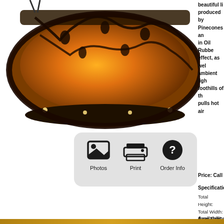[Figure (photo): Circular drum pendant light fixture with amber/mica shade and dark bronze pinecone and branch decorative overlay, glowing with warm orange light]
[Figure (infographic): Action buttons bar with three icons: Photos (image icon), Print (printer icon), Order Info (question mark icon), on a light gray rounded rectangle background]
beautiful li... produced by... Pinecones an... in Oil Rubbe... effect, as wel... ambient ligh... foothills of th... pulls hot air
Price: Call
Specification
Total Height:
Total Width:
Total Weight:
Base Type: M
Bulb Wattage
Bulb Quantit:
Availability: